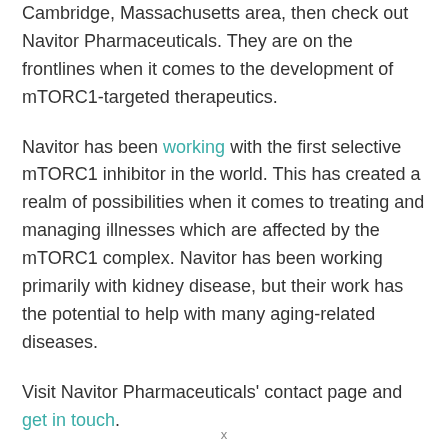Cambridge, Massachusetts area, then check out Navitor Pharmaceuticals. They are on the frontlines when it comes to the development of mTORC1-targeted therapeutics.
Navitor has been working with the first selective mTORC1 inhibitor in the world. This has created a realm of possibilities when it comes to treating and managing illnesses which are affected by the mTORC1 complex. Navitor has been working primarily with kidney disease, but their work has the potential to help with many aging-related diseases.
Visit Navitor Pharmaceuticals' contact page and get in touch.